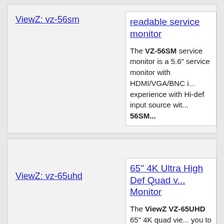ViewZ: vz-56sm
readable service monitor
The VZ-56SM service monitor is a 5.6" service monitor with HDMI/VGA/BNC i... experience with Hi-def input source wit... 56SM...
ViewZ: vz-65uhd
65" 4K Ultra High Def Quad v... Monitor
The ViewZ VZ-65UHD 65" 4K quad vie... you to maximize free desk space in yo... ability to see 4 desktops on 1 monitor, ... viewing...
ViewZ: vz-75ibx-t
75" Interac... D... w/Media Pl...
The View-Z VZ-75IBX-T is a 75" intera...